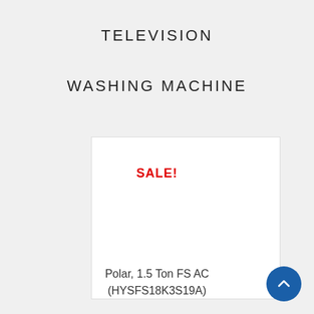TELEVISION
WASHING MACHINE
[Figure (other): White product card box with SALE! label in red]
SALE!
Polar, 1.5 Ton FS AC (HYSFS18K3S19A)